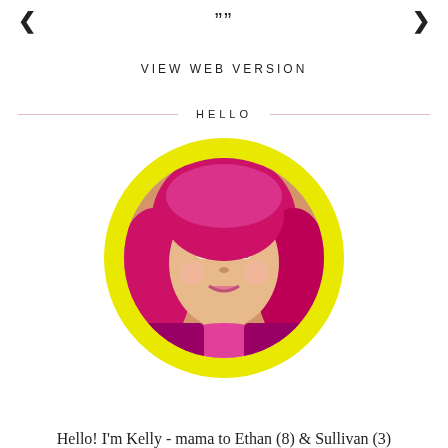< " " >
VIEW WEB VERSION
HELLO
[Figure (photo): Circular portrait photo of a woman with pink/red hair and pink turtleneck, framed with a bright yellow circular border]
Hello! I'm Kelly - mama to Ethan (8) & Sullivan (3)